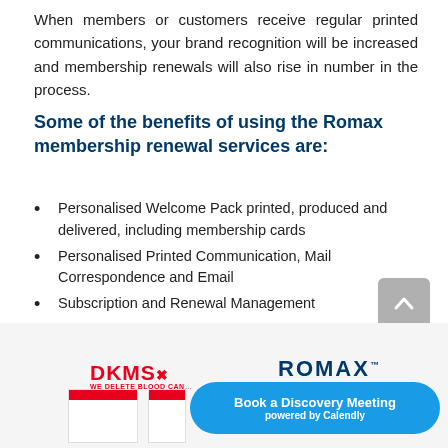When members or customers receive regular printed communications, your brand recognition will be increased and membership renewals will also rise in number in the process.
Some of the benefits of using the Romax membership renewal services are:
Personalised Welcome Pack printed, produced and delivered, including membership cards
Personalised Printed Communication, Mail Correspondence and Email
Subscription and Renewal Management
Distribution to the UK and Overseas
Membership Management Software Implementation.
[Figure (logo): DKMS logo with tagline WE DELETE BLOOD CANCER and Romax logo, plus a Book a Discovery Meeting Calendly button]